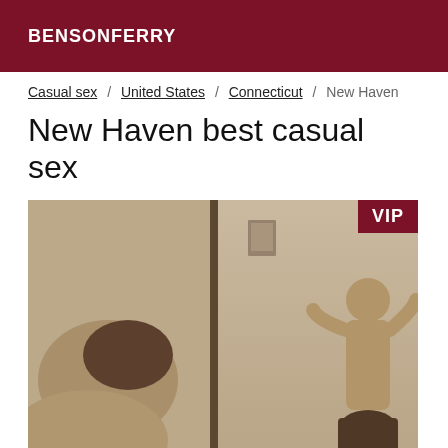BENSONFERRY
Casual sex / United States / Connecticut / New Haven
New Haven best casual sex
[Figure (photo): Sepia-toned photograph with a VIP badge in the top right corner]